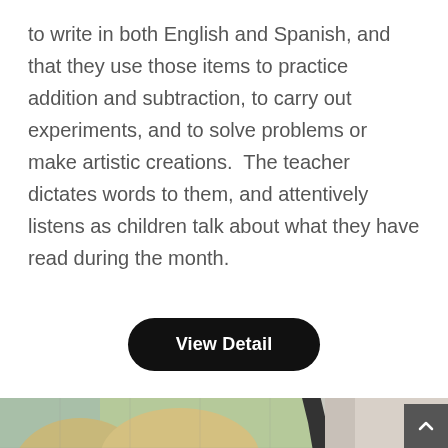to write in both English and Spanish, and that they use those items to practice addition and subtraction, to carry out experiments, and to solve problems or make artistic creations.  The teacher dictates words to them, and attentively listens as children talk about what they have read during the month.
View Detail
[Figure (photo): A person's hand pointing at a globe/world map, viewed from above. The map shows geographic regions in pastel greens, yellows, and pinks. Part of a dark circular globe frame is visible.]